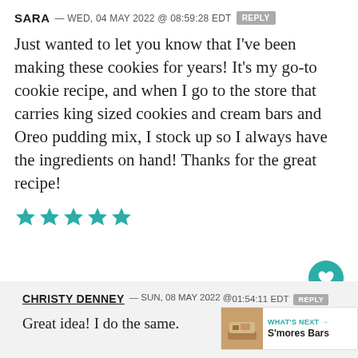SARA — WED, 04 MAY 2022 @ 08:59:28 EDT REPLY
Just wanted to let you know that I've been making these cookies for years! It's my go-to cookie recipe, and when I go to the store that carries king sized cookies and cream bars and Oreo pudding mix, I stock up so I always have the ingredients on hand! Thanks for the great recipe!
[Figure (other): Five teal/gold star rating icons]
CHRISTY DENNEY — SUN, 08 MAY 2022 @ 01:54:11 EDT REPLY
Great idea! I do the same.
WHAT'S NEXT → S'mores Bars